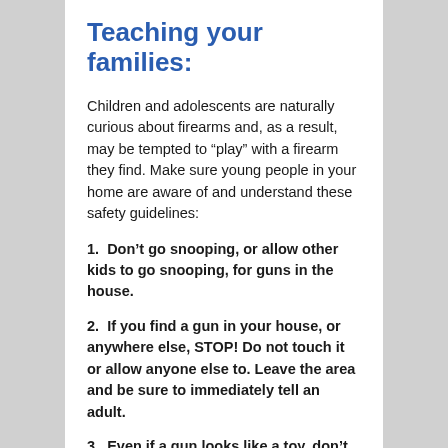Teaching your families:
Children and adolescents are naturally curious about firearms and, as a result, may be tempted to “play” with a firearm they find. Make sure young people in your home are aware of and understand these safety guidelines:
1.  Don’t go snooping, or allow other kids to go snooping, for guns in the house.
2.  If you find a gun in your house, or anywhere else, STOP! Do not touch it or allow anyone else to. Leave the area and be sure to immediately tell an adult.
3.  Even if a gun looks like a toy, don’t touch it. Some real guns look like toy guns, so don’t take a chance. Leave the area and immediately tell an adult.